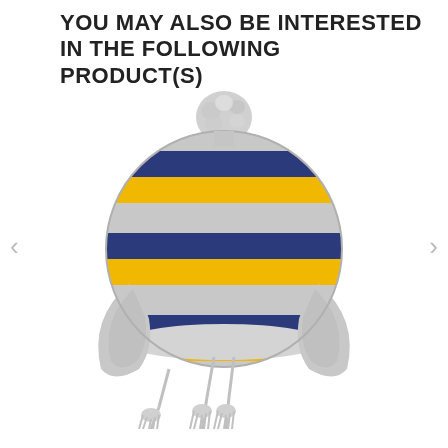YOU MAY ALSO BE INTERESTED IN THE FOLLOWING PRODUCT(S)
[Figure (photo): A child's knit winter hat (earflap style) with a pompom on top. The hat features horizontal stripes in navy blue, yellow/gold, and grey. It has ear flaps and grey tassels/strings hanging from the bottom. The hat is shown from the back, displayed on a white background.]